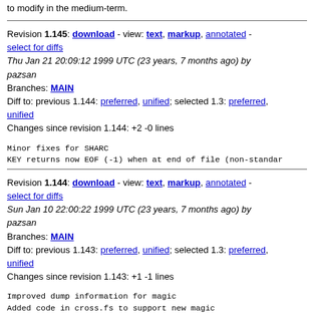to modify in the medium-term.
Revision 1.145: download - view: text, markup, annotated - select for diffs
Thu Jan 21 20:09:12 1999 UTC (23 years, 7 months ago) by pazsan
Branches: MAIN
Diff to: previous 1.144: preferred, unified; selected 1.3: preferred, unified
Changes since revision 1.144: +2 -0 lines
Minor fixes for SHARC
KEY returns now EOF (-1) when at end of file (non-standar
Revision 1.144: download - view: text, markup, annotated - select for diffs
Sun Jan 10 22:00:22 1999 UTC (23 years, 7 months ago) by pazsan
Branches: MAIN
Diff to: previous 1.143: preferred, unified; selected 1.3: preferred, unified
Changes since revision 1.143: +1 -1 lines
Improved dump information for magic
Added code in cross.fs to support new magic
Fixed makefile problem with cp (cp -p to preserve date)